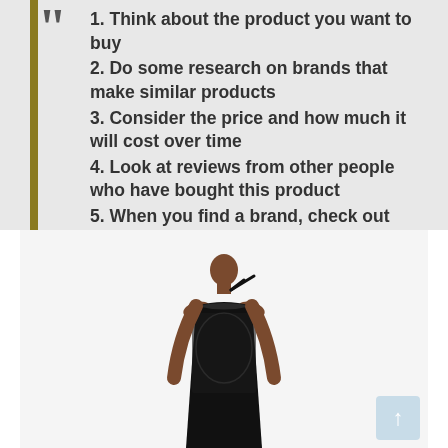1. Think about the product you want to buy
2. Do some research on brands that make similar products
3. Consider the price and how much it will cost over time
4. Look at reviews from other people who have bought this product
5. When you find a brand, check out their website for more information about the company and its products!
[Figure (photo): A woman wearing a black halter-neck lace dress, photographed from the waist up against a white background.]